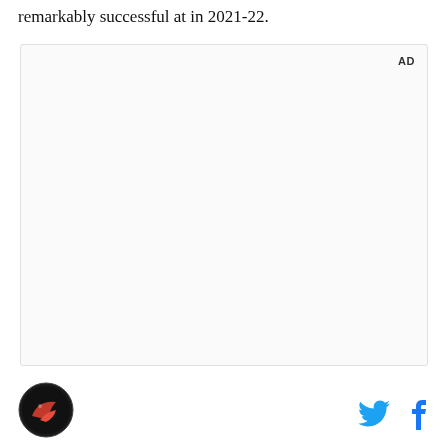remarkably successful at in 2021-22.
[Figure (other): Advertisement placeholder box with 'AD' label in top right corner]
[Figure (logo): Circular sports team logo with red and black design]
[Figure (other): Twitter bird icon and Facebook 'f' icon social share buttons]